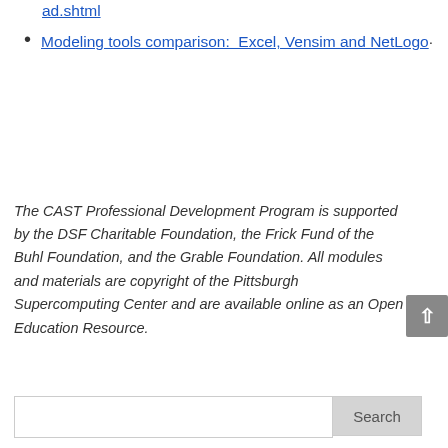ad.shtml
Modeling tools comparison:  Excel, Vensim and NetLogo.
The CAST Professional Development Program is supported by the DSF Charitable Foundation, the Frick Fund of the Buhl Foundation, and the Grable Foundation. All modules and materials are copyright of the Pittsburgh Supercomputing Center and are available online as an Open Education Resource.